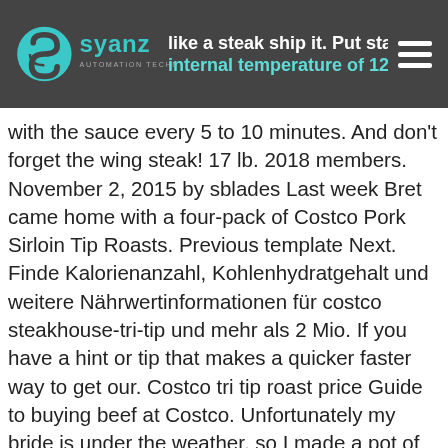like a steak ship it. Put stamp back on the BGE and cook to an internal temperature of 126 degrees for medium rare, basting
with the sauce every 5 to 10 minutes. And don't forget the wing steak! 17 lb. 2018 members. November 2, 2015 by sblades Last week Bret came home with a four-pack of Costco Pork Sirloin Tip Roasts. Previous template Next. Finde Kalorienanzahl, Kohlenhydratgehalt und weitere Nährwertinformationen für costco steakhouse-tri-tip und mehr als 2 Mio. If you have a hint or tip that makes a quicker faster way to get our. Costco tri tip roast price Guide to buying beef at Costco. Unfortunately my bride is under the weather, so I made a pot of chicken/veggie soup for her. A lot of that flavor and moisture comes from the fat that is marbled throughout the meat. Costco Tri Tip. DSCN1359.JPG 1.3M. Turns out, I was just trying too hard. Editing a comment. We include all prices at our local Costco and share with you some tips for buying and cooking every piece from usda Prime Brisket for